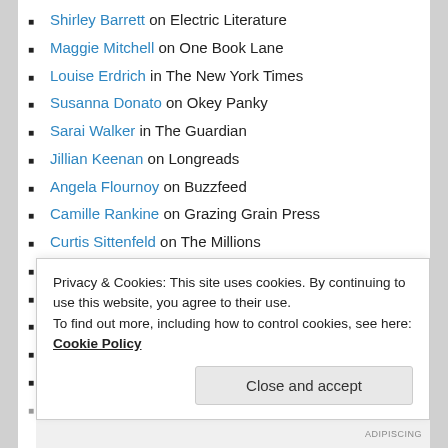Shirley Barrett on Electric Literature
Maggie Mitchell on One Book Lane
Louise Erdrich in The New York Times
Susanna Donato on Okey Panky
Sarai Walker in The Guardian
Jillian Keenan on Longreads
Angela Flournoy on Buzzfeed
Camille Rankine on Grazing Grain Press
Curtis Sittenfeld on The Millions
Emma Cline on Publishers Weekly
Laurie Penny on The Bailey's Prize blog
Lisa Owens on Bookanista and in The Bookseller
Linda Legters on Bloom
Mary Beard in The Guardian
Privacy & Cookies: This site uses cookies. By continuing to use this website, you agree to their use.
To find out more, including how to control cookies, see here: Cookie Policy
Close and accept